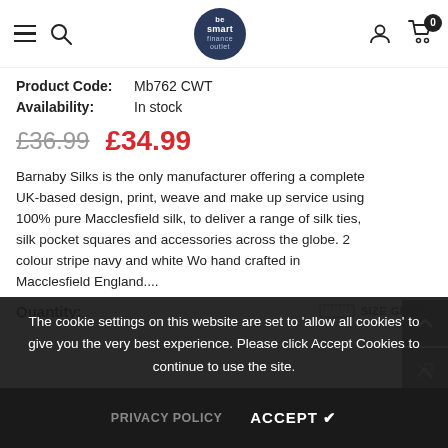besmart finance outlet — navigation bar with hamburger, search, logo, user, cart (0)
Product Code: Mb762 CWT
Availability: In stock
£36.99  £34.99
Barnaby Silks is the only manufacturer offering a complete UK-based design, print, weave and make up service using 100% pure Macclesfield silk, to deliver a range of silk ties, silk pocket squares and accessories across the globe. 2 colour stripe navy and white Wo hand crafted in Macclesfield England....
Quantity:
SIZE GUIDE
Subtotal: £34.99
The cookie settings on this website are set to 'allow all cookies' to give you the very best experience. Please click Accept Cookies to continue to use the site.
PRIVACY POLICY   ACCEPT ✔